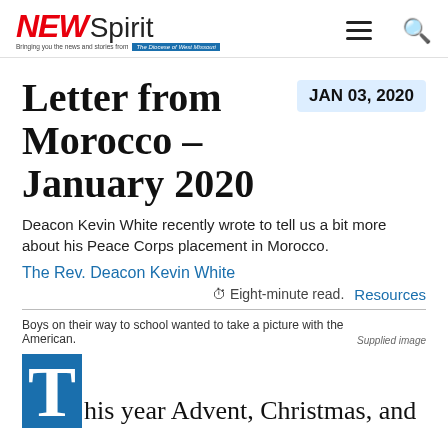NEW Spirit
Letter from Morocco – January 2020
JAN 03, 2020
Deacon Kevin White recently wrote to tell us a bit more about his Peace Corps placement in Morocco.
The Rev. Deacon Kevin White
Eight-minute read. Resources
Boys on their way to school wanted to take a picture with the American. Supplied image
This year Advent, Christmas, and